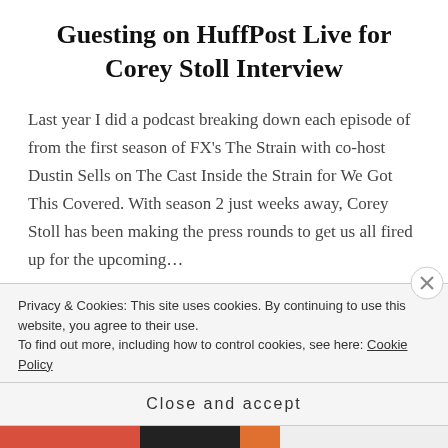Guesting on HuffPost Live for Corey Stoll Interview
Last year I did a podcast breaking down each episode of from the first season of FX's The Strain with co-host Dustin Sells on The Cast Inside the Strain for We Got This Covered. With season 2 just weeks away, Corey Stoll has been making the press rounds to get us all fired up for the upcoming...
READ MORE
Privacy & Cookies: This site uses cookies. By continuing to use this website, you agree to their use.
To find out more, including how to control cookies, see here: Cookie Policy
Close and accept